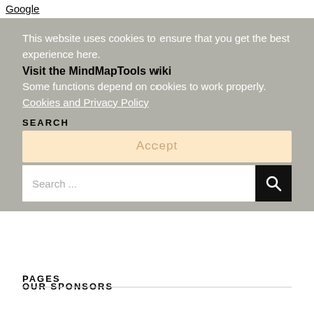Google
This website uses cookies to ensure that you get the best experience here.
Visit the MindMapTools wiki
Some functions depend on cookies to work properly. Cookies and Privacy Policy
SEARCH
Accept
Search ...
OUR SPONSORS
PAGES